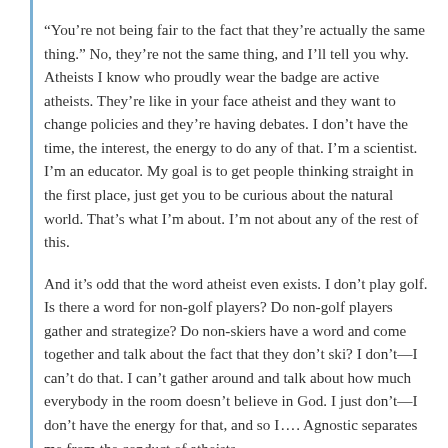“You’re not being fair to the fact that they’re actually the same thing.” No, they’re not the same thing, and I’ll tell you why. Atheists I know who proudly wear the badge are active atheists. They’re like in your face atheist and they want to change policies and they’re having debates. I don’t have the time, the interest, the energy to do any of that. I’m a scientist. I’m an educator. My goal is to get people thinking straight in the first place, just get you to be curious about the natural world. That’s what I’m about. I’m not about any of the rest of this.
And it’s odd that the word atheist even exists. I don’t play golf. Is there a word for non-golf players? Do non-golf players gather and strategize? Do non-skiers have a word and come together and talk about the fact that they don’t ski? I don’t—I can’t do that. I can’t gather around and talk about how much everybody in the room doesn’t believe in God. I just don’t—I don’t have the energy for that, and so I…. Agnostic separates me from the conduct of atheists